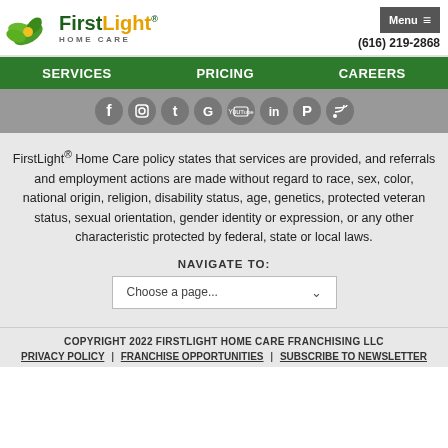[Figure (logo): FirstLight Home Care logo with green leaf icon, green and orange text, and 'HOME CARE' subtitle]
(616) 219-2868
SERVICES | PRICING | CAREERS
[Figure (infographic): Row of circular social media icons: Facebook, Instagram, Twitter, Google, YouTube, LinkedIn, Pinterest, RSS]
FirstLight® Home Care policy states that services are provided, and referrals and employment actions are made without regard to race, sex, color, national origin, religion, disability status, age, genetics, protected veteran status, sexual orientation, gender identity or expression, or any other characteristic protected by federal, state or local laws.
NAVIGATE TO:
Choose a page...
COPYRIGHT 2022 FIRSTLIGHT HOME CARE FRANCHISING LLC
PRIVACY POLICY | FRANCHISE OPPORTUNITIES | SUBSCRIBE TO NEWSLETTER